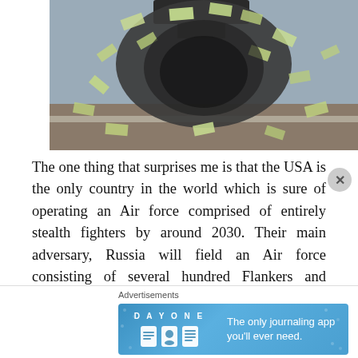[Figure (photo): Photograph showing a large explosion of US dollar bills scattering in the air, possibly from an aircraft or vehicle on a runway/tarmac, with a grey overcast sky and flat landscape in the background.]
The one thing that surprises me is that the USA is the only country in the world which is sure of operating an Air force comprised of entirely stealth fighters by around 2030. Their main adversary, Russia will field an Air force consisting of several hundred Flankers and Fulcrums. The Su-30/34/35 will be the core of the Russian Air force fighter and tactical bomber fleet. They are non-stealth aircraft
Advertisements
[Figure (screenshot): Advertisement banner for DAY ONE journaling app showing the app logo, three app interface icons, and the tagline 'The only journaling app you'll ever need.' on a blue gradient background.]